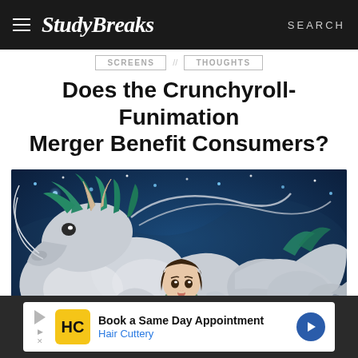Study Breaks | SEARCH
Does the Crunchyroll-Funimation Merger Benefit Consumers?
[Figure (illustration): Anime illustration from Spirited Away (Studio Ghibli) showing a young girl with brown hair wearing a green and white striped shirt, leaning against a large white dragon with green mane, set against a dark blue starry night sky background.]
Book a Same Day Appointment Hair Cuttery